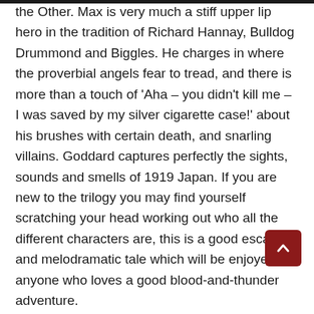the Other. Max is very much a stiff upper lip hero in the tradition of Richard Hannay, Bulldog Drummond and Biggles. He charges in where the proverbial angels fear to tread, and there is more than a touch of 'Aha – you didn't kill me – I was saved by my silver cigarette case!' about his brushes with certain death, and snarling villains. Goddard captures perfectly the sights, sounds and smells of 1919 Japan. If you are new to the trilogy you may find yourself scratching your head working out who all the different characters are, this is a good escapist and melodramatic tale which will be enjoyed by anyone who loves a good blood-and-thunder adventure.
Enjoy books set in this era? Try this selection of World War I crime fiction.